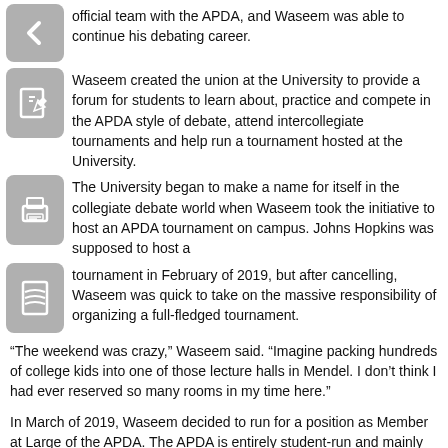official team with the APDA, and Waseem was able to continue his debating career.
Waseem created the union at the University to provide a forum for students to learn about, practice and compete in the APDA style of debate, attend intercollegiate tournaments and help run a tournament hosted at the University.
The University began to make a name for itself in the collegiate debate world when Waseem took the initiative to host an APDA tournament on campus. Johns Hopkins was supposed to host a tournament in February of 2019, but after cancelling, Waseem was quick to take on the massive responsibility of organizing a full-fledged tournament.
“The weekend was crazy,” Waseem said. “Imagine packing hundreds of college kids into one of those lecture halls in Mendel. I don’t think I had ever reserved so many rooms in my time here.”
In March of 2019, Waseem decided to run for a position as Member at Large of the APDA. The APDA is entirely student-run and mainly funded by its member universities.
“I was the first Member at Large to be elected, which felt great,” Waseem said.